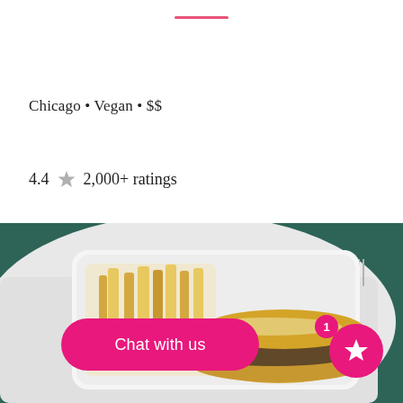Chicago • Vegan • $$
4.4 ★ 2,000+ ratings
[Figure (photo): Overhead photo of a vegan sandwich/sub with lettuce and tomato in a white styrofoam container with french fries, on a white cloth napkin with a fork on a dark teal table.]
Chat with us
1